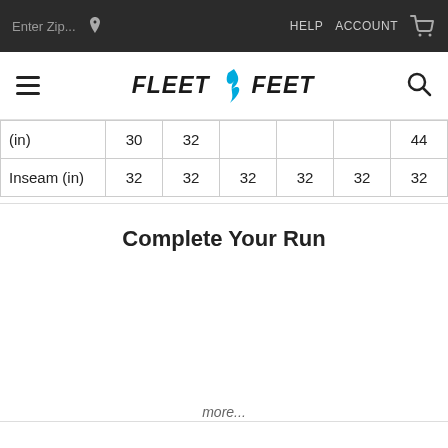Enter Zip... | HELP ACCOUNT [cart]
FLEET FEET
|  |  |  |  |  |  |  |
| --- | --- | --- | --- | --- | --- | --- |
| (in) | 30 | 32 |  |  |  | 44 |
| Inseam (in) | 32 | 32 | 32 | 32 | 32 | 32 |
Complete Your Run
more...